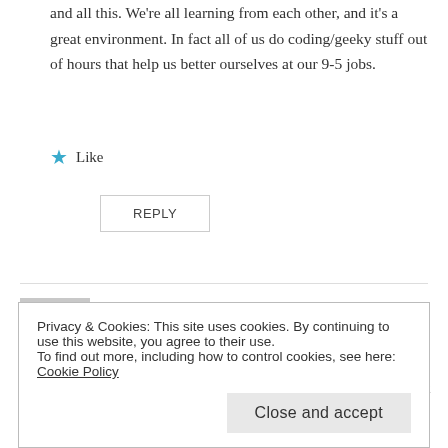and all this. We're all learning from each other, and it's a great environment. In fact all of us do coding/geeky stuff out of hours that help us better ourselves at our 9-5 jobs.
★ Like
REPLY
Mike Willbanks
February 11, 2011 at 9:30 am
I understand the 9-5 work day and leaving it at work sometimes. This does not mean that the learning needs to end there. As programmers I believe that we are constantly
Privacy & Cookies: This site uses cookies. By continuing to use this website, you agree to their use.
To find out more, including how to control cookies, see here: Cookie Policy
Close and accept
community to help educate our counterparts. The 9-5 can